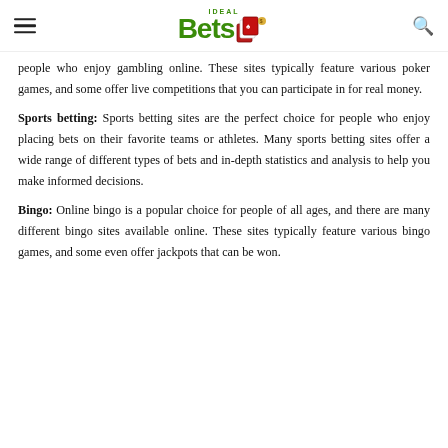IDEAL Bets [logo with cards]
people who enjoy gambling online. These sites typically feature various poker games, and some offer live competitions that you can participate in for real money.
Sports betting: Sports betting sites are the perfect choice for people who enjoy placing bets on their favorite teams or athletes. Many sports betting sites offer a wide range of different types of bets and in-depth statistics and analysis to help you make informed decisions.
Bingo: Online bingo is a popular choice for people of all ages, and there are many different bingo sites available online. These sites typically feature various bingo games, and some even offer jackpots that can be won.